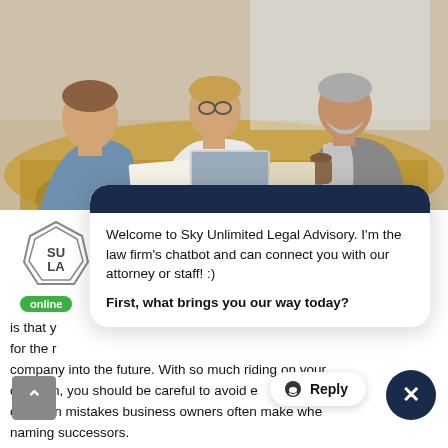[Figure (photo): Three business professionals (two men and one woman) sitting around a table in an office setting, with a laptop, papers, and coffee cup visible. A woman with glasses in a white blouse is in the center, a man in a blue shirt on the left, and a man in a grey blazer on the right.]
[Figure (screenshot): Chatbot overlay widget for Sky Unlimited Legal Advisory law firm website. Dark navy rounded header bar at top, white body with chatbot message: 'Welcome to Sky Unlimited Legal Advisory. I'm the law firm's chatbot and can connect you with our attorney or staff! :)' followed by 'First, what brings you our way today?' A Reply button and close X button appear at the bottom right. The law firm logo (SULA diamond shape) and green 'online' badge appear to the left of the chat widget.]
Welcome to Sky Unlimited Legal Advisory. I'm the law firm's chatbot and can connect you with our attorney or staff! :)
First, what brings you our way today?
is that y... for the re... company into the future. With so much riding on your decision, you should be careful to avoid ... common mistakes business owners often make when naming successors.